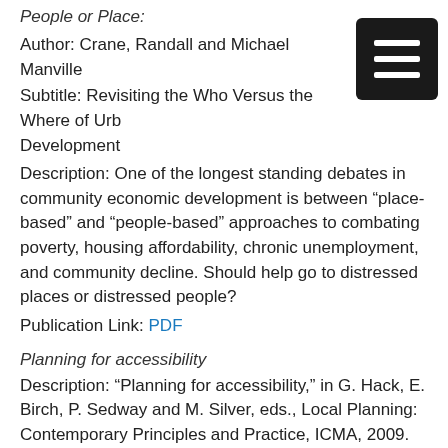People or Place:
Author: Crane, Randall and Michael Manville
Subtitle: Revisiting the Who Versus the Where of Urban Development
Description: One of the longest standing debates in community economic development is between “place-based” and “people-based” approaches to combating poverty, housing affordability, chronic unemployment, and community decline. Should help go to distressed places or distressed people?
Publication Link: PDF
Planning for accessibility
Description: “Planning for accessibility,” in G. Hack, E. Birch, P. Sedway and M. Silver, eds., Local Planning: Contemporary Principles and Practice, ICMA, 2009. (with L. Takahashi)
Publication Link: ICMA
Counterpoint: Accessibility and sprawl